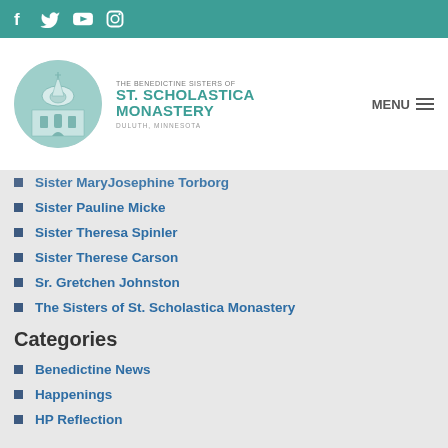f  Twitter  YouTube  Instagram — Social media icons
[Figure (logo): The Benedictine Sisters of St. Scholastica Monastery, Duluth, Minnesota — circular logo with monastery building illustration in teal]
MENU
Sister MaryJosephine Torborg
Sister Pauline Micke
Sister Theresa Spinler
Sister Therese Carson
Sr. Gretchen Johnston
The Sisters of St. Scholastica Monastery
Categories
Benedictine News
Happenings
HP Reflection